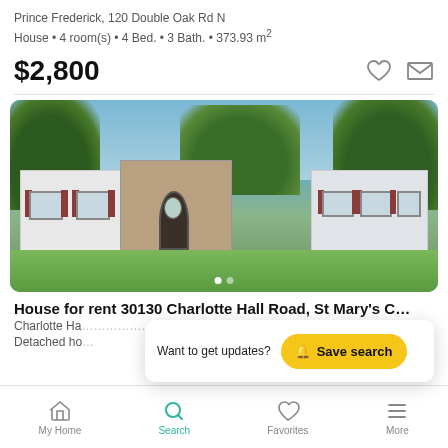Prince Frederick, 120 Double Oak Rd N
House • 4 room(s) • 4 Bed. • 3 Bath. • 373.93 m²
$2,800
[Figure (photo): Exterior photo of a single-story ranch house with red shutters, white siding, covered porch with oval door, surrounded by green trees and lawn]
House for rent  30130 Charlotte Hall Road, St Mary's C…
Charlotte Ha…                                    ty, MD
Detached ho…
Want to get updates?
Save search
My Home   Search   Favorites   More